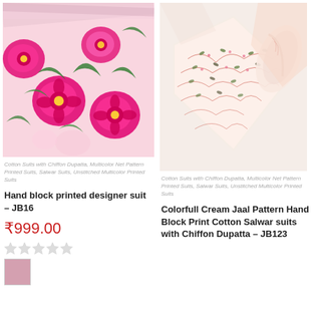[Figure (photo): Folded cotton fabric with bright pink and dark magenta floral block print pattern with green leaves on a light background]
Cotton Suits with Chiffon Dupatta, Multicolor Net Pattern Printed Suits, Salwar Suits, Unstitched Multicolor Printed Suits
Hand block printed designer suit – JB16
₹999.00
[Figure (photo): White fabric with delicate floral jaal (net) pattern in pink and olive block print, folded and rolled]
Cotton Suits with Chiffon Dupatta, Multicolor Net Pattern Printed Suits, Salwar Suits, Unstitched Multicolor Printed Suits
Colorfull Cream Jaal Pattern Hand Block Print Cotton Salwar suits with Chiffon Dupatta – JB123